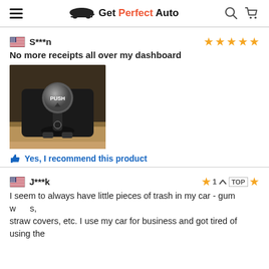Get Perfect Auto
S***n
No more receipts all over my dashboard
★★★★★
[Figure (photo): Photo of a car gear shift knob with 'PUSH' text on top, installed in a vehicle center console with tan/leather interior.]
Yes, I recommend this product
J***k
★1 TOP ★
I seem to always have little pieces of trash in my car - gum w s,
straw covers, etc. I use my car for business and got tired of using the